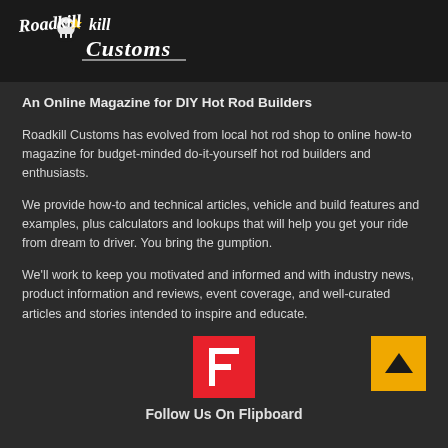[Figure (logo): Roadkill Customs logo with stylized text and skull graphic on dark background]
An Online Magazine for DIY Hot Rod Builders
Roadkill Customs has evolved from local hot rod shop to online how-to magazine for budget-minded do-it-yourself hot rod builders and enthusiasts.
We provide how-to and technical articles, vehicle and build features and examples, plus calculators and lookups that will help you get your ride from dream to driver. You bring the gumption.
We'll work to keep you motivated and informed and with industry news, product information and reviews, event coverage, and well-curated articles and stories intended to inspire and educate.
[Figure (logo): Flipboard red logo icon with white F letter]
Follow Us On Flipboard